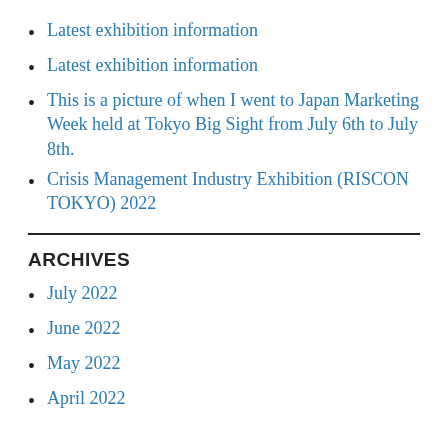Latest exhibition information
Latest exhibition information
This is a picture of when I went to Japan Marketing Week held at Tokyo Big Sight from July 6th to July 8th.
Crisis Management Industry Exhibition (RISCON TOKYO) 2022
ARCHIVES
July 2022
June 2022
May 2022
April 2022